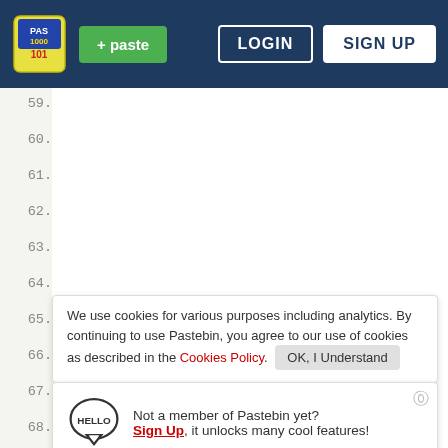[Figure (screenshot): Pastebin website header with logo, green paste button, LOGIN and SIGN UP buttons on dark blue background]
private Thread t;
private boolean running = false;
public static int scoreOne;
public static int scoreTwo;
public static String scoreOneString;
public static String scoreTwoString;
We use cookies for various purposes including analytics. By continuing to use Pastebin, you agree to our use of cookies as described in the Cookies Policy. OK, I Understand
protected static int ballSpeed:
Not a member of Pastebin yet? Sign Up, it unlocks many cool features!
// BOOLEANS THAT WILL BE USED FOR SMOOTHER MOVEMENT